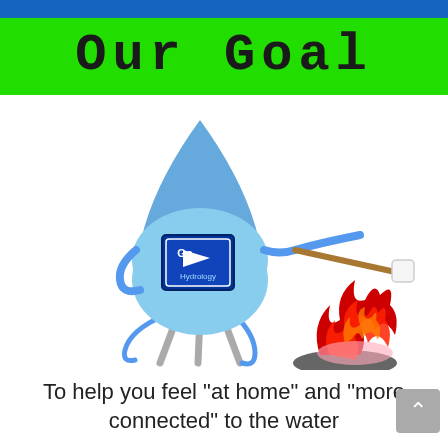Our Goal
[Figure (illustration): A cartoon water drop character with a Go Hydrology logo on its body, sitting on a stool and roasting a marshmallow over a campfire using a stick.]
To help you feel "at home" and "more connected" to the water